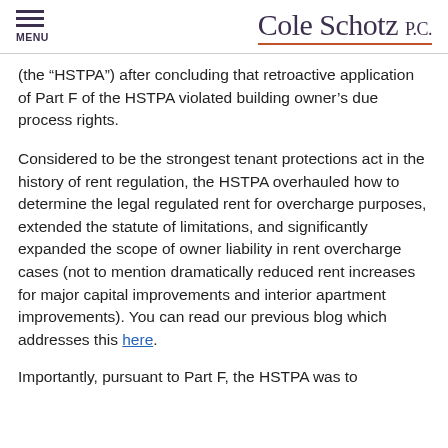MENU | Cole Schotz P.C.
(the “HSTPA”) after concluding that retroactive application of Part F of the HSTPA violated building owner’s due process rights.
Considered to be the strongest tenant protections act in the history of rent regulation, the HSTPA overhauled how to determine the legal regulated rent for overcharge purposes, extended the statute of limitations, and significantly expanded the scope of owner liability in rent overcharge cases (not to mention dramatically reduced rent increases for major capital improvements and interior apartment improvements). You can read our previous blog which addresses this here.
Importantly, pursuant to Part F, the HSTPA was to